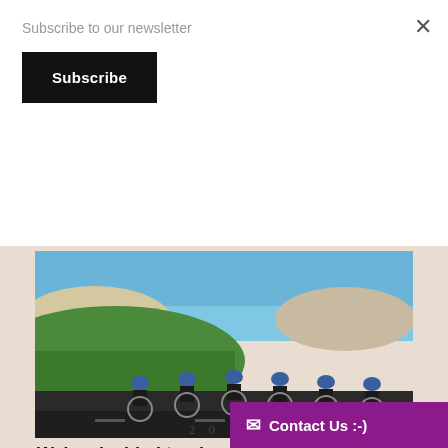Subscribe to our newsletter
Subscribe
[Figure (photo): Six cyclists in racing gear riding in formation on a road with green hills and ocean/blue sky in background. Text '2018' visible at bottom of image.]
We've decided to give all you dedicated cyclists a 10% discount off your Cape Town accommodation if you book your stay with us for the 2018 Cape Town Cycle Tour
The annual Cape Town Cycle Tour (formerly known as The Cape Argus Cycle Tour) is coming up again next year on 11 March 2018. As we explained in our pr...
Contact Us :-)